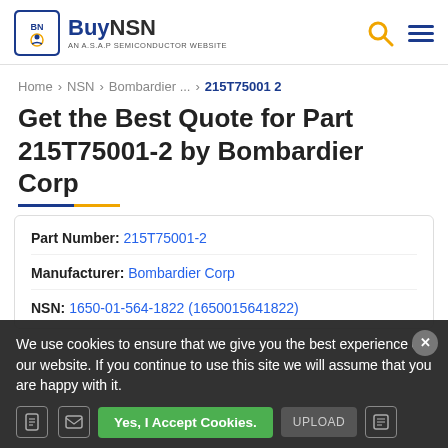BuyNSN - AN A.S.A.P SEMICONDUCTOR WEBSITE
Home > NSN > Bombardier ... > 215T75001 2
Get the Best Quote for Part 215T75001-2 by Bombardier Corp
| Part Number: | 215T75001-2 |
| Manufacturer: | Bombardier Corp |
| NSN: | 1650-01-564-1822 (1650015641822) |
We use cookies to ensure that we give you the best experience on our website. If you continue to use this site we will assume that you are happy with it.